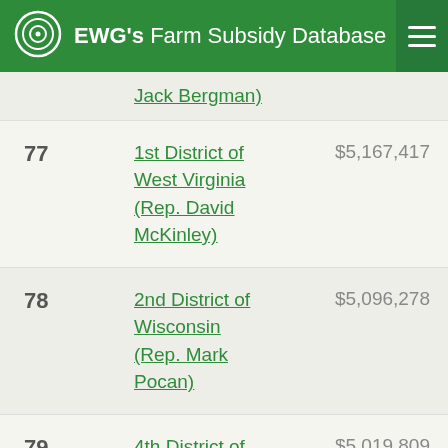EWG's Farm Subsidy Database
| Rank | District | Amount |
| --- | --- | --- |
|  | Jack Bergman) |  |
| 77 | 1st District of West Virginia (Rep. David McKinley) | $5,167,417 |
| 78 | 2nd District of Wisconsin (Rep. Mark Pocan) | $5,096,278 |
| 79 | 4th District of Kansas (Rep. Ron Estes) | $5,019,809 |
| 80 | 8th District of Minnesota (Rep. Pete | $5,009,198 |